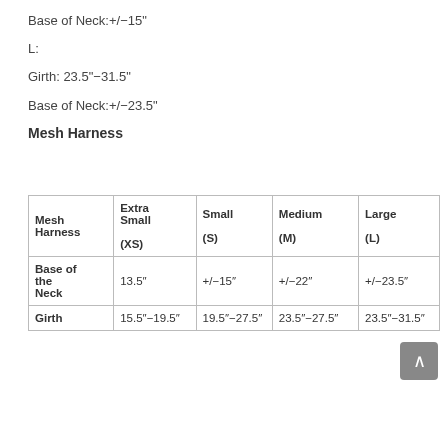Base of Neck:+/−15"
L:
Girth: 23.5"−31.5"
Base of Neck:+/−23.5"
Mesh Harness
| Mesh Harness | Extra Small (XS) | Small (S) | Medium (M) | Large (L) |
| --- | --- | --- | --- | --- |
| Base of the Neck | 13.5" | +/−15" | +/−22" | +/−23.5" |
| Girth | 15.5"−19.5" | 19.5"−27.5" | 23.5"−27.5" | 23.5"−31.5" |